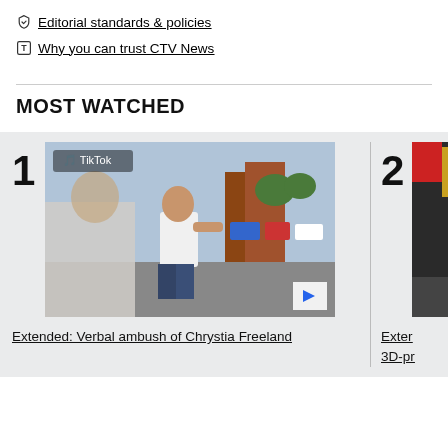Editorial standards & policies
Why you can trust CTV News
MOST WATCHED
[Figure (screenshot): Video thumbnail showing a man in a white tank top in a parking lot, from a TikTok video]
Extended: Verbal ambush of Chrystia Freeland
[Figure (photo): Partial video thumbnail showing equipment, item 2 in most watched]
Exter 3D-pr